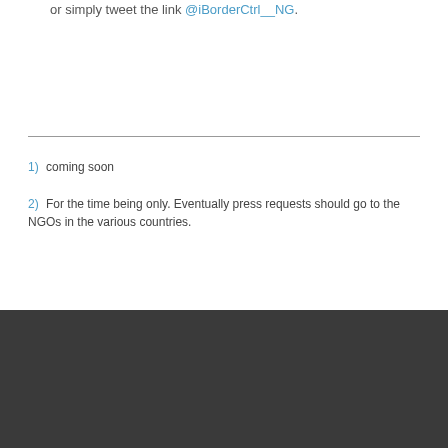or simply tweet the link @iBorderCtrl__NG.
1) coming soon
2) For the time being only. Eventually press requests should go to the NGOs in the various countries.